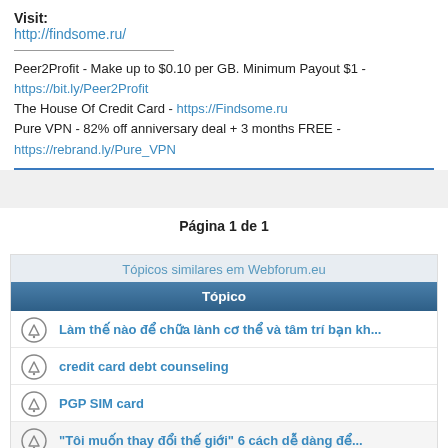Visit:
http://findsome.ru/
Peer2Profit - Make up to $0.10 per GB. Minimum Payout $1 - https://bit.ly/Peer2Profit
The House Of Credit Card - https://Findsome.ru
Pure VPN - 82% off anniversary deal + 3 months FREE - https://rebrand.ly/Pure_VPN
Página 1 de 1
Tópicos similares em Webforum.eu
| Tópico |
| --- |
| Làm thế nào để chữa lành cơ thể và tâm trí bạn kh... |
| credit card debt counseling |
| PGP SIM card |
| "Tôi muốn thay đổi thế giới" 6 cách dễ dàng để... |
| Get Real French Passport ID Card and Driver s License |
| Card Games for Dummies |